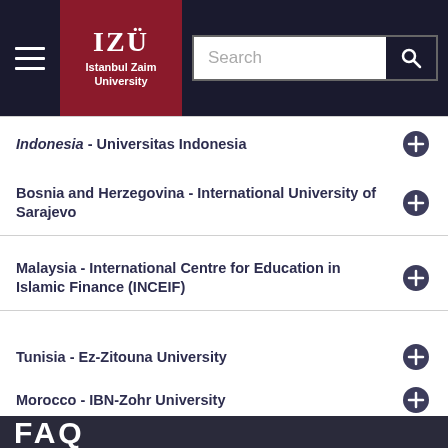[Figure (screenshot): Istanbul Zaim University website header with hamburger menu, logo, and search bar]
Indonesia - Universitas Indonesia
Bosnia and Herzegovina - International University of Sarajevo
Malaysia - International Centre for Education in Islamic Finance (INCEIF)
Tunisia - Ez-Zitouna University
Morocco - IBN-Zohr University
Pakistan- National University of Sciences &amp; Technology
FAQ